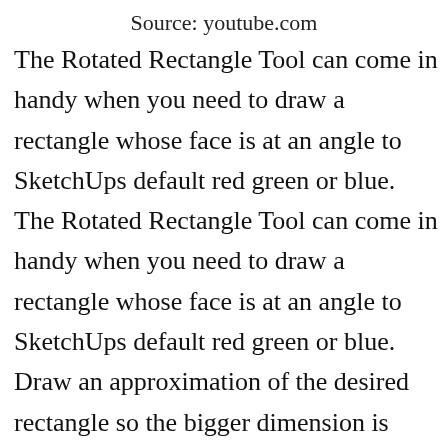Source: youtube.com
The Rotated Rectangle Tool can come in handy when you need to draw a rectangle whose face is at an angle to SketchUps default red green or blue. The Rotated Rectangle Tool can come in handy when you need to draw a rectangle whose face is at an angle to SketchUps default red green or blue. Draw an approximation of the desired rectangle so the bigger dimension is obvious on screen and you can also see which dimension is w[no-entry]ich. Sketchup Draw